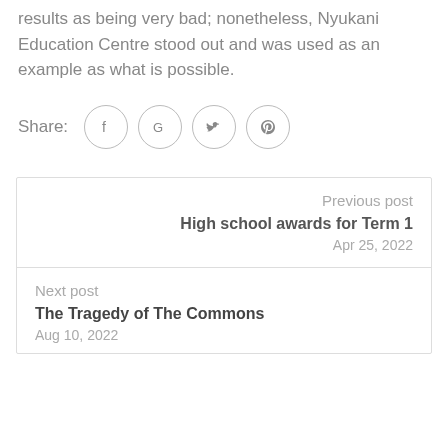results as being very bad; nonetheless, Nyukani Education Centre stood out and was used as an example as what is possible.
[Figure (infographic): Share icons row with Facebook, Google, Twitter, and Pinterest circular icon buttons]
Previous post
High school awards for Term 1
Apr 25, 2022
Next post
The Tragedy of The Commons
Aug 10, 2022